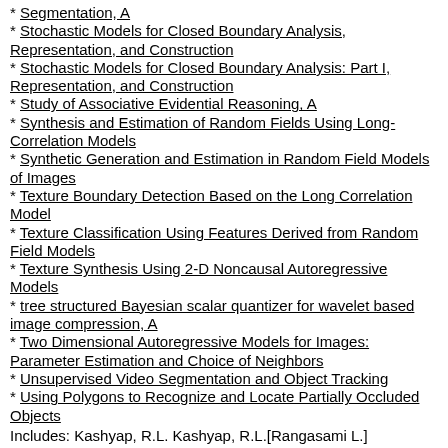* Segmentation, A
* Stochastic Models for Closed Boundary Analysis, Representation, and Construction
* Stochastic Models for Closed Boundary Analysis: Part I, Representation, and Construction
* Study of Associative Evidential Reasoning, A
* Synthesis and Estimation of Random Fields Using Long-Correlation Models
* Synthetic Generation and Estimation in Random Field Models of Images
* Texture Boundary Detection Based on the Long Correlation Model
* Texture Classification Using Features Derived from Random Field Models
* Texture Synthesis Using 2-D Noncausal Autoregressive Models
* tree structured Bayesian scalar quantizer for wavelet based image compression, A
* Two Dimensional Autoregressive Models for Images: Parameter Estimation and Choice of Neighbors
* Unsupervised Video Segmentation and Object Tracking
* Using Polygons to Recognize and Locate Partially Occluded Objects
Includes: Kashyap, R.L. Kashyap, R.L.[Rangasami L.]
63 for Kashyap, R.L.